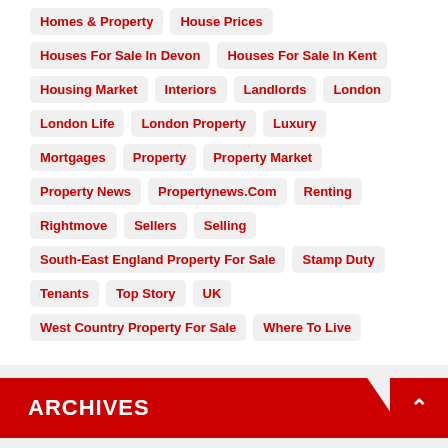Homes & Property
House Prices
Houses For Sale In Devon
Houses For Sale In Kent
Housing Market
Interiors
Landlords
London
London Life
London Property
Luxury
Mortgages
Property
Property Market
Property News
Propertynews.Com
Renting
Rightmove
Sellers
Selling
South-East England Property For Sale
Stamp Duty
Tenants
Top Story
UK
West Country Property For Sale
Where To Live
ARCHIVES